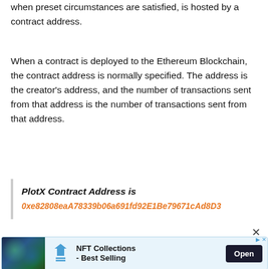when preset circumstances are satisfied, is hosted by a contract address.
When a contract is deployed to the Ethereum Blockchain, the contract address is normally specified. The address is the creator's address, and the number of transactions sent from that address is the number of transactions sent from that address.
PlotX Contract Address is
0xe82808eaA78339b06a691fd92E1Be79671cAd8D3
[Figure (infographic): Advertisement banner for NFT Collections - Best Selling with an Open button]